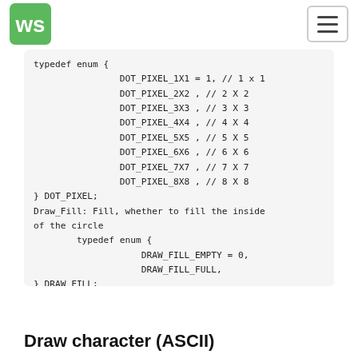WS logo and navigation hamburger menu
typedef enum {
    DOT_PIXEL_1X1 = 1, // 1 x 1
    DOT_PIXEL_2X2 , // 2 X 2
    DOT_PIXEL_3X3 , // 3 X 3
    DOT_PIXEL_4X4 , // 4 X 4
    DOT_PIXEL_5X5 , // 5 X 5
    DOT_PIXEL_6X6 , // 6 X 6
    DOT_PIXEL_7X7 , // 7 X 7
    DOT_PIXEL_8X8 , // 8 X 8
} DOT_PIXEL;
Draw_Fill: Fill, whether to fill the inside of the circle
    typedef enum {
        DRAW_FILL_EMPTY = 0,
        DRAW_FILL_FULL,
    } DRAW_FILL;
Draw character (ASCII)